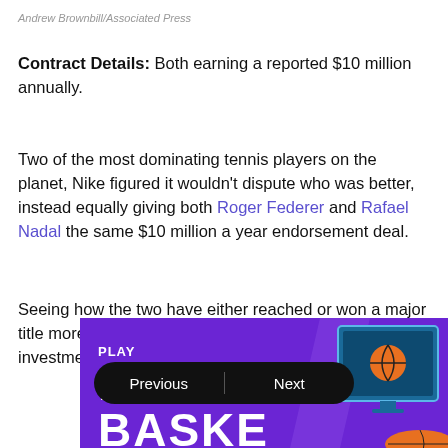Andrew Brownbill/Associated Press
Contract Details: Both earning a reported $10 million annually.
Two of the most dominating tennis players on the planet, Nike figured it wouldn't dispute who was better, instead equally giving both Roger Federer and Rafael Nadal the same $10 million a year endorsement deal.
Seeing how the two have either reached or won a major title more often than other players, it seems like a sound investment.
[Figure (photo): Advertisement banner for Play Fantasy Basketball with purple background and navigation Previous/Next buttons]
Previous | Next